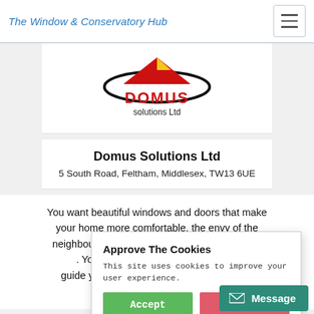The Window & Conservatory Hub
[Figure (logo): Domus Solutions Ltd logo — red house/triangle shape with black ellipse and DOMUS in red text, solutions Ltd below]
Domus Solutions Ltd
5 South Road, Feltham, Middlesex, TW13 6UE
You want beautiful windows and doors that make your home more comfortable, the envy of the neighbourhood and increase your home's cur... You want knowledgeable, rel... guide you through your option... quickly and efficiently. A...
Approve The Cookies
This site uses cookies to improve your user experience.
Accept | Decline
Cookie policy
17.11
Message